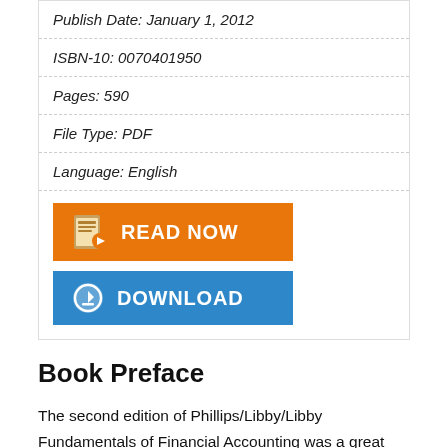Publish Date: January 1, 2012
ISBN-10: 0070401950
Pages: 590
File Type: PDF
Language: English
[Figure (other): Orange READ NOW button with book icon]
[Figure (other): Blue DOWNLOAD button with download icon]
Book Preface
The second edition of Phillips/Libby/Libby Fundamentals of Financial Accounting was a great success, thanks to the ideas and direction provided by a dedicated panel of reviewers, many students, and a host of talented contributors. It was named “Revision of the Year” across all of McGraw-Hill's business and economics textbooks. The